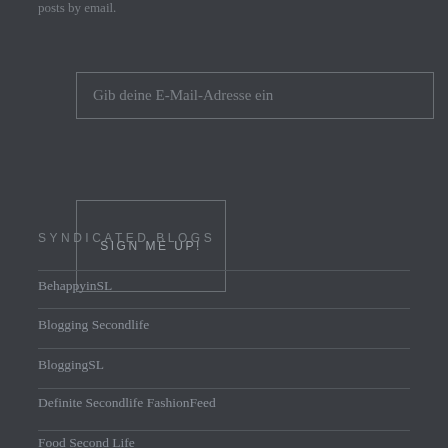posts by email.
Gib deine E-Mail-Adresse ein
SIGN ME UP!
SYNDICATED BLOGS
BehappyinSL
Blogging Secondlife
BloggingSL
Definite Secondlife FashionFeed
Food Second Life